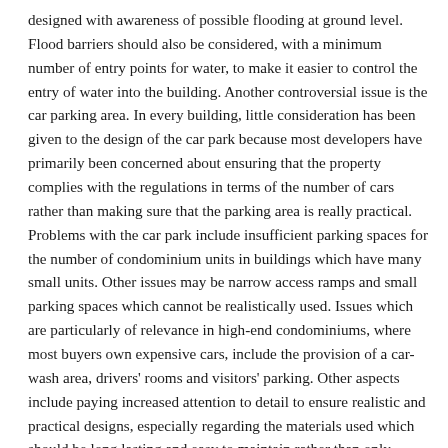designed with awareness of possible flooding at ground level. Flood barriers should also be considered, with a minimum number of entry points for water, to make it easier to control the entry of water into the building. Another controversial issue is the car parking area. In every building, little consideration has been given to the design of the car park because most developers have primarily been concerned about ensuring that the property complies with the regulations in terms of the number of cars rather than making sure that the parking area is really practical. Problems with the car park include insufficient parking spaces for the number of condominium units in buildings which have many small units. Other issues may be narrow access ramps and small parking spaces which cannot be realistically used. Issues which are particularly of relevance in high-end condominiums, where most buyers own expensive cars, include the provision of a car-wash area, drivers' rooms and visitors' parking. Other aspects include paying increased attention to detail to ensure realistic and practical designs, especially regarding the materials used which should be long lasting and easy to maintain rather than only looking good at the time of sale. In a more competitive market, all these points should form an integral part of the design plans and should be carefully considered as buyers are also likely to have more experience of living in condominiums.